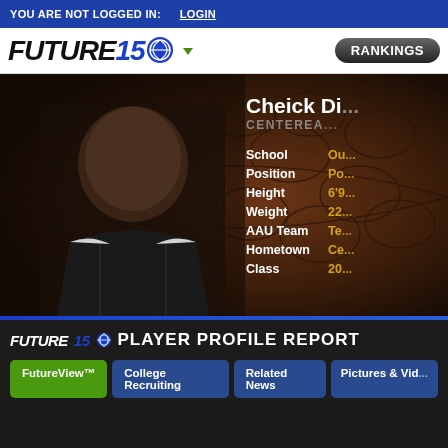YOU ARE NOT LOGGED IN:   LOGIN
[Figure (logo): Future150 basketball recruiting website logo with basketball icon and dropdown arrow, plus RANKINGS button]
[Figure (photo): Player profile photo of Cheick Di (name partially cut off) against a basketball texture background, showing a tall young African male basketball player in black jersey. Info panel shows: School: Ou[t-of-state], Position: Po[int], Height: 6'9[?], Weight: 22[0?], AAU Team: Te[am name cut], Hometown: Ce[...], Class: 20[...]]
FUTURE150 PLAYER PROFILE REPORT
FutureView™
College Recruiting
Related News
Pictures & Vid[eos]